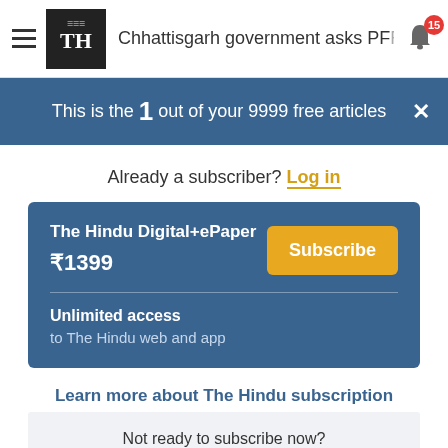Chhattisgarh government asks PFR
This is the 1 out of your 9999 free articles
Already a subscriber? Log in
The Hindu Digital+ePaper ₹1399 Subscribe Unlimited access to The Hindu web and app
Learn more about The Hindu subscription
Not ready to subscribe now? Try out our 14 day trial